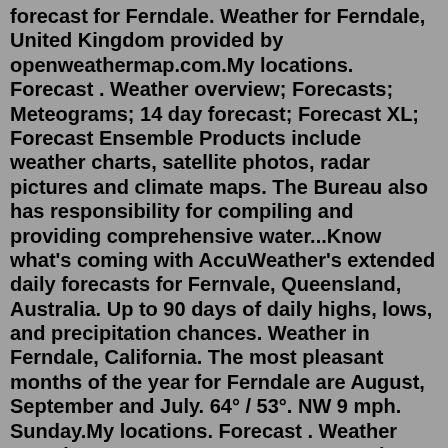forecast for Ferndale. Weather for Ferndale, United Kingdom provided by openweathermap.com.My locations. Forecast . Weather overview; Forecasts; Meteograms; 14 day forecast; Forecast XL; Forecast Ensemble Products include weather charts, satellite photos, radar pictures and climate maps. The Bureau also has responsibility for compiling and providing comprehensive water...Know what's coming with AccuWeather's extended daily forecasts for Fernvale, Queensland, Australia. Up to 90 days of daily highs, lows, and precipitation chances. Weather in Ferndale, California. The most pleasant months of the year for Ferndale are August, September and July. 64° / 53°. NW 9 mph. Sunday.My locations. Forecast . Weather overview; Forecasts; Meteograms; 14 day forecast; Forecast XL; Forecast Ensemble Ferndale, California - Current temperature and weather conditions. Detailed hourly weather forecast for today - including weather conditions, temperature, pressure...Aug 20, 2022 · 7 day weather forecast Fernvale, Queensland Check out the weather forecast for Fernvale now and